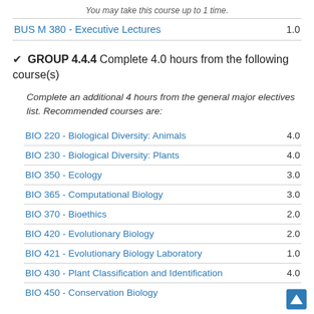You may take this course up to 1 time.
| Course | Credits |
| --- | --- |
| BUS M 380 - Executive Lectures | 1.0 |
✔ GROUP 4.4.4 Complete 4.0 hours from the following course(s)
Complete an additional 4 hours from the general major electives list. Recommended courses are:
| Course | Credits |
| --- | --- |
| BIO 220 - Biological Diversity: Animals | 4.0 |
| BIO 230 - Biological Diversity: Plants | 4.0 |
| BIO 350 - Ecology | 3.0 |
| BIO 365 - Computational Biology | 3.0 |
| BIO 370 - Bioethics | 2.0 |
| BIO 420 - Evolutionary Biology | 2.0 |
| BIO 421 - Evolutionary Biology Laboratory | 1.0 |
| BIO 430 - Plant Classification and Identification | 4.0 |
| BIO 450 - Conservation Biology | 3.0 |